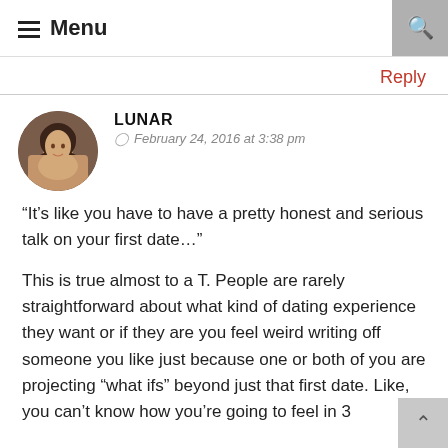≡ Menu
Reply
LUNAR
© February 24, 2016 at 3:38 pm
“It’s like you have to have a pretty honest and serious talk on your first date…”
This is true almost to a T. People are rarely straightforward about what kind of dating experience they want or if they are you feel weird writing off someone you like just because one or both of you are projecting “what ifs” beyond just that first date. Like, you can’t know how you’re going to feel in 3